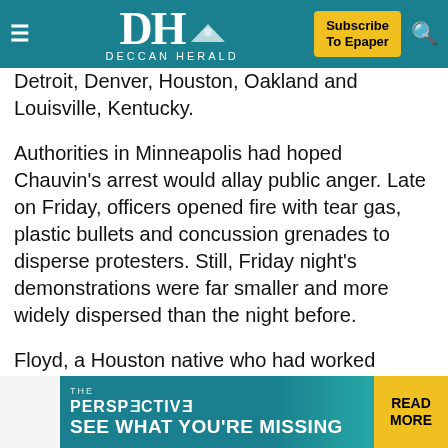DH DECCAN HERALD | Subscribe To Epaper
Detroit, Denver, Houston, Oakland and Louisville, Kentucky.
Authorities in Minneapolis had hoped Chauvin's arrest would allay public anger. Late on Friday, officers opened fire with tear gas, plastic bullets and concussion grenades to disperse protesters. Still, Friday night's demonstrations were far smaller and more widely dispersed than the night before.
Floyd, a Houston native who had worked security for a nightclub, was arrested for allegedly using counterfeit money at a store to buy cigarettes on Monday evening.
Bail has been set at $500,000 for Chauvin, but it was unclear on Saturday whether he remained in custody. Hennepin County jail records showed no inmate of that name. He faces
[Figure (infographic): Advertisement banner for 'The Perspective' with text 'SEE WHAT YOU'RE MISSING' and a 'READ MORE' button on yellow background]